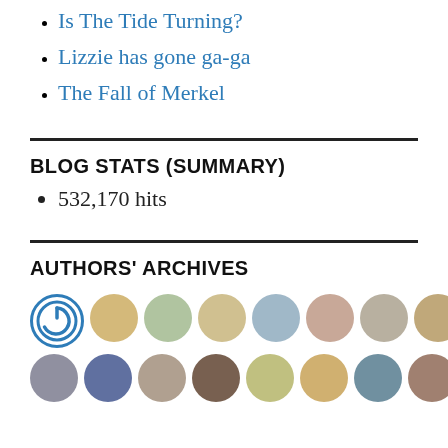Is The Tide Turning?
Lizzie has gone ga-ga
The Fall of Merkel
BLOG STATS (SUMMARY)
532,170 hits
AUTHORS' ARCHIVES
[Figure (illustration): Two rows of circular author avatar icons]